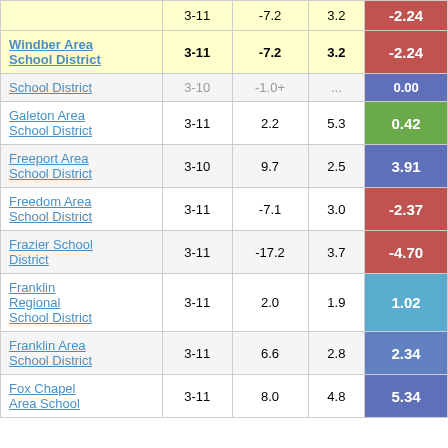| School District | Grades | Change | Avg Daily Membership | Score |
| --- | --- | --- | --- | --- |
| Windber Area School District | 3-11 | -7.2 | 3.2 | -2.24 |
| School District | 3-10 | -1.0+ | ... | 0.00 |
| Galeton Area School District | 3-11 | 2.2 | 5.3 | 0.42 |
| Freeport Area School District | 3-10 | 9.7 | 2.5 | 3.91 |
| Freedom Area School District | 3-11 | -7.1 | 3.0 | -2.37 |
| Frazier School District | 3-11 | -17.2 | 3.7 | -4.70 |
| Franklin Regional School District | 3-11 | 2.0 | 1.9 | 1.02 |
| Franklin Area School District | 3-11 | 6.6 | 2.8 | 2.34 |
| Fox Chapel Area School District | 3-11 | 8.0 | 4.8 | 5.34 |